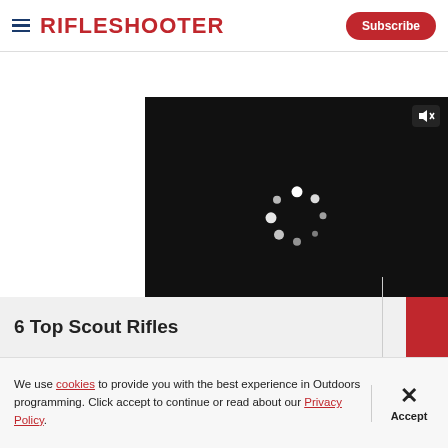RifleShooter | Subscribe
[Figure (screenshot): Video player with loading spinner, mute button, and playback controls showing 00:00 / 02:02]
6 Top Scout Rifles
We use cookies to provide you with the best experience in Outdoors programming. Click accept to continue or read about our Privacy Policy.